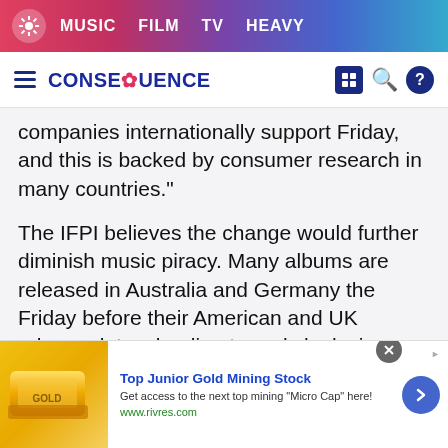MUSIC  FILM  TV  HEAVY
CONSEQUENCE
companies internationally support Friday, and this is backed by consumer research in many countries."
The IFPI believes the change would further diminish music piracy. Many albums are released in Australia and Germany the Friday before their American and UK release dates, leading to early leaks in those regions.
However, there are some like Beggar’s Group founder Martin Millis who worry how the change
[Figure (screenshot): Advertisement banner: Top Junior Gold Mining Stock. Get access to the next top mining "Micro Cap" here! www.rivres.com. Shows gold bar image on left and blue arrow button on right.]